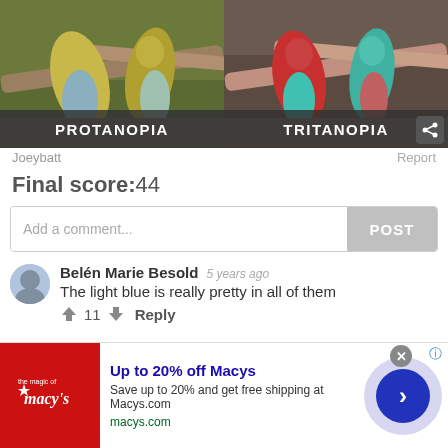[Figure (photo): Two side-by-side color vision simulation panels. Left: Protanopia simulation of parrots on wooden perches, muted yellow-green tones. Right: Tritanopia simulation of the same scene with red and teal tones.]
Joeybatt
Report
Final score:44
Add a comment...
POST
Belén Marie Besold  5 years ago
The light blue is really pretty in all of them
11  Reply
[Figure (infographic): Macy's advertisement banner. Red square logo with star and Macy's text. Ad reads: Up to 20% off Macys. Save up to 20% and get free shipping at Macys.com. macys.com. Blue circle arrow button on right.]